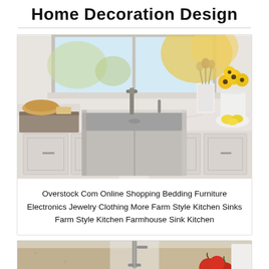Home Decoration Design
[Figure (photo): Stainless steel farmhouse/apron-front kitchen sink installed in white kitchen with marble countertop, modern pull-down faucet, yellow flowers in vase, bread and utensils on counter]
Overstock Com Online Shopping Bedding Furniture Electronics Jewelry Clothing More Farm Style Kitchen Sinks Farm Style Kitchen Farmhouse Sink Kitchen
[Figure (photo): Close-up of kitchen sink area with granite countertop, faucet hardware, and red tomatoes visible]